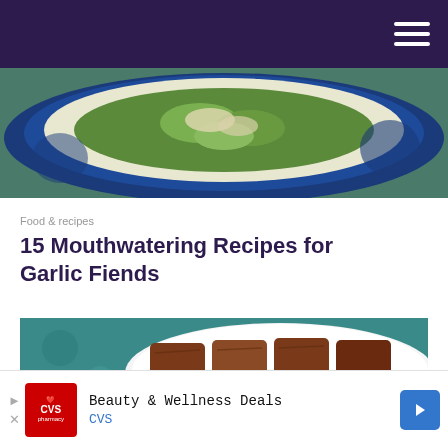[Figure (photo): Top food photo showing a blue decorative plate with salad or greens dish, visible at the top of the page]
Food & recipes
15 Mouthwatering Recipes for Garlic Fiends
[Figure (photo): Photo of meatloaf slices on a white plate in background, and in foreground a white plate with mashed potatoes, green beans, and meatloaf with gravy]
Beauty & Wellness Deals CVS